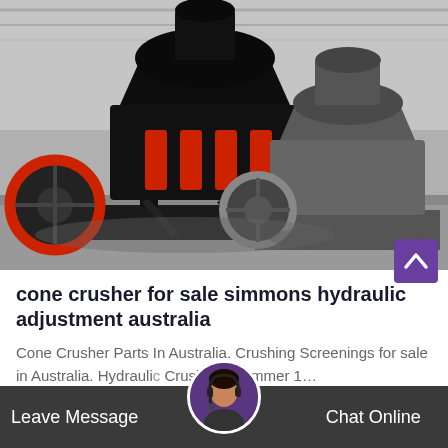[Figure (photo): Industrial cone crushers in a warehouse/factory setting. A large black cone crusher with red hydraulic cylinders and a red-rimmed flywheel is in the foreground left. A grey cone crusher with a flywheel is visible in the background right. The facility has a corrugated metal roof and concrete floor.]
cone crusher for sale simmons hydraulic adjustment australia
Cone Crusher Parts In Australia. Crushing Screenings for sale in Australia. Hydraulic Crusher 1 hammer 1...